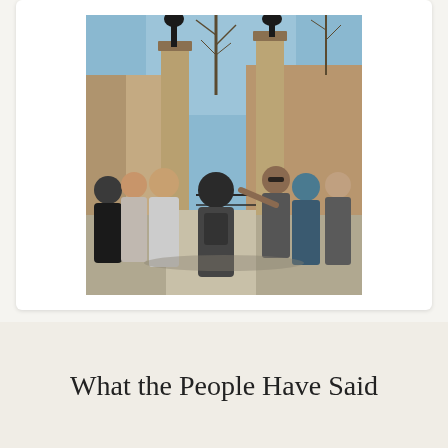[Figure (photo): Group of people standing outdoors near ornate stone gate pillars with lamp posts, bare winter trees and blue sky in background. A man with sunglasses appears to be pointing or gesturing while the group listens. Appears to be a walking tour.]
What the People Have Said